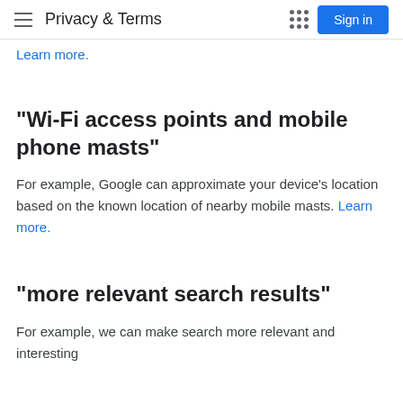Privacy & Terms
Learn more.
"Wi-Fi access points and mobile phone masts"
For example, Google can approximate your device's location based on the known location of nearby mobile masts. Learn more.
"more relevant search results"
For example, we can make search more relevant and interesting